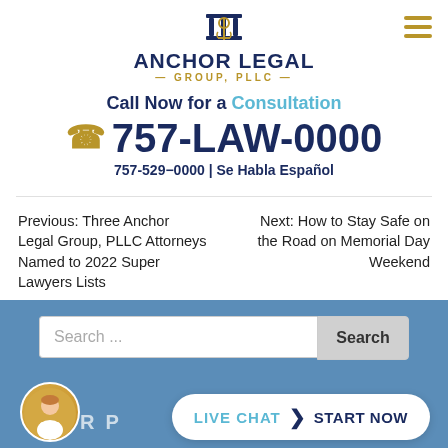[Figure (logo): Anchor Legal Group, PLLC logo with pillar and anchor icon]
Call Now for a Consultation
757-LAW-0000
757-529-0000 | Se Habla Español
Previous: Three Anchor Legal Group, PLLC Attorneys Named to 2022 Super Lawyers Lists
Next: How to Stay Safe on the Road on Memorial Day Weekend
Search ...
LIVE CHAT  START NOW